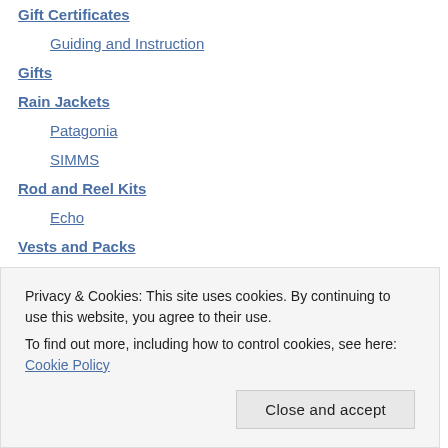Gift Certificates
Guiding and Instruction
Gifts
Rain Jackets
Patagonia
SIMMS
Rod and Reel Kits
Echo
Vests and Packs
Filson
Fishpond
Patagonia
Privacy & Cookies: This site uses cookies. By continuing to use this website, you agree to their use. To find out more, including how to control cookies, see here: Cookie Policy
Close and accept